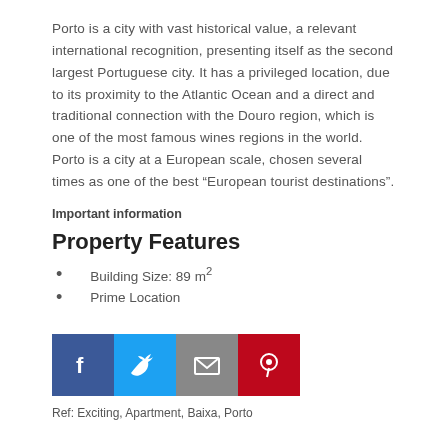Porto is a city with vast historical value, a relevant international recognition, presenting itself as the second largest Portuguese city. It has a privileged location, due to its proximity to the Atlantic Ocean and a direct and traditional connection with the Douro region, which is one of the most famous wines regions in the world. Porto is a city at a European scale, chosen several times as one of the best “European tourist destinations”.
Important information
Property Features
Building Size: 89 m²
Prime Location
[Figure (other): Social media share buttons: Facebook, Twitter, Email, Pinterest]
Ref: Exciting, Apartment, Baixa, Porto